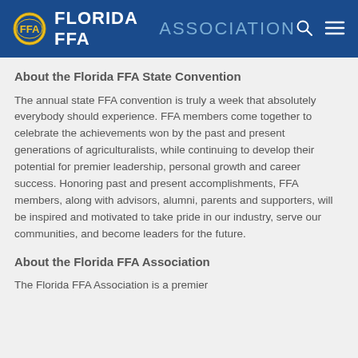FLORIDA FFA ASSOCIATION
About the Florida FFA State Convention
The annual state FFA convention is truly a week that absolutely everybody should experience.  FFA members come together to celebrate the achievements won by the past and present generations of agriculturalists, while continuing to develop their potential for premier leadership, personal growth and career success.  Honoring past and present accomplishments, FFA members, along with advisors, alumni, parents and supporters, will be inspired and motivated to take pride in our industry, serve our communities, and become leaders for the future.
About the Florida FFA Association
The Florida FFA Association is a premier